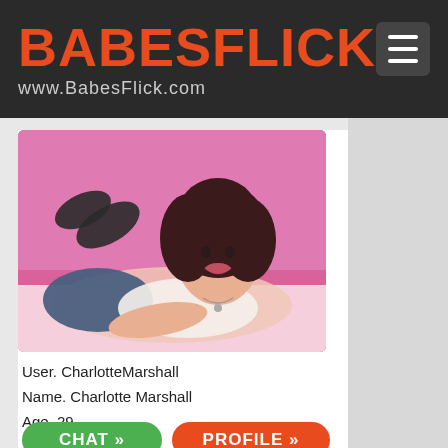BABESFLICK www.BabesFlick.com
[Figure (photo): Profile photo of Charlotte Marshall, a woman with curly dark hair lying on a bed with a pink background, smiling at the camera.]
User. CharlotteMarshall
Name. Charlotte Marshall
Age. 29
Star Sign. Capricorn
CHAT »   PROFILE »